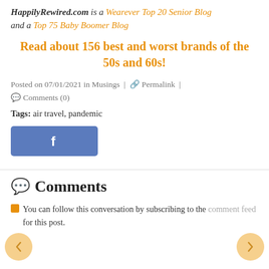HappilyRewired.com is a Wearever Top 20 Senior Blog and a Top 75 Baby Boomer Blog
Read about 156 best and worst brands of the 50s and 60s!
Posted on 07/01/2021 in Musings | 🔗 Permalink | 💬 Comments (0)
Tags: air travel, pandemic
[Figure (logo): Facebook share button with white 'f' logo on blue background]
💬 Comments
You can follow this conversation by subscribing to the comment feed for this post.